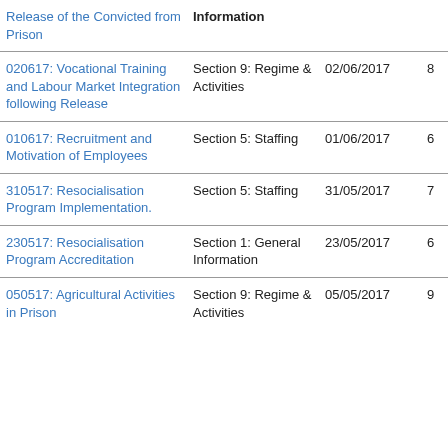| Title | Section | Date | N |  |
| --- | --- | --- | --- | --- |
| Release of the Convicted from Prison | Information |  |  |  |
| 020617: Vocational Training and Labour Market Integration following Release | Section 9: Regime & Activities | 02/06/2017 | 8 |  |
| 010617: Recruitment and Motivation of Employees | Section 5: Staffing | 01/06/2017 | 6 |  |
| 310517: Resocialisation Program Implementation. | Section 5: Staffing | 31/05/2017 | 7 |  |
| 230517: Resocialisation Program Accreditation | Section 1: General Information | 23/05/2017 | 6 |  |
| 050517: Agricultural Activities in Prison | Section 9: Regime & Activities | 05/05/2017 | 9 |  |